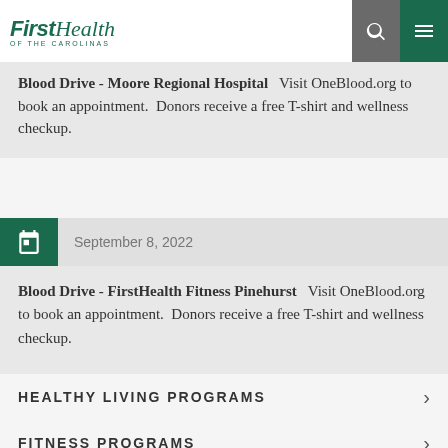FirstHealth of the Carolinas
Blood Drive - Moore Regional Hospital   Visit OneBlood.org to book an appointment.  Donors receive a free T-shirt and wellness checkup.
September 8, 2022
Blood Drive - FirstHealth Fitness Pinehurst   Visit OneBlood.org to book an appointment.  Donors receive a free T-shirt and wellness checkup.
HEALTHY LIVING PROGRAMS
FITNESS PROGRAMS